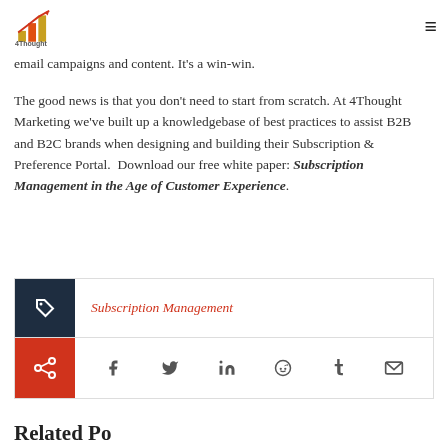4Thought Marketing logo and navigation
email campaigns and content. It's a win-win.
The good news is that you don't need to start from scratch. At 4Thought Marketing we've built up a knowledgebase of best practices to assist B2B and B2C brands when designing and building their Subscription & Preference Portal.  Download our free white paper: Subscription Management in the Age of Customer Experience.
Subscription Management
[Figure (infographic): Share icons row with Facebook, Twitter, LinkedIn, Reddit, Tumblr, Email icons]
Related Po...